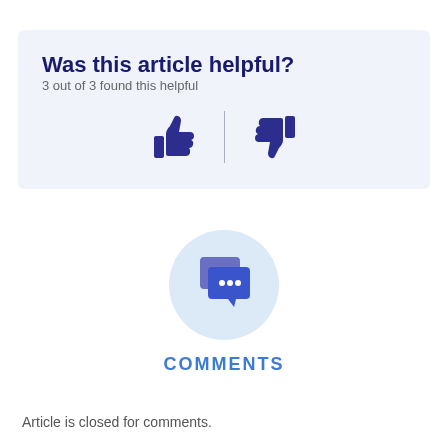Was this article helpful?
3 out of 3 found this helpful
[Figure (illustration): Thumbs up and thumbs down icons separated by a vertical divider line]
[Figure (illustration): Chat bubble icon in a light blue circle for the comments section]
COMMENTS
Article is closed for comments.